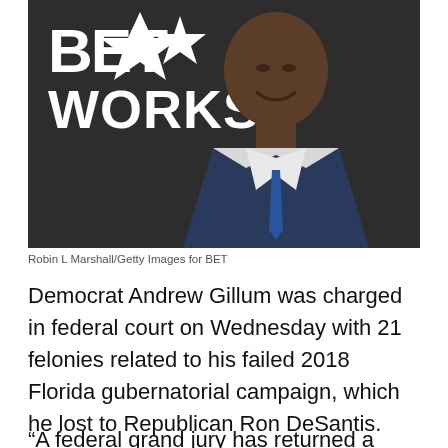[Figure (photo): Portrait photo of Andrew Gillum in a dark suit and blue tie, standing in front of a BET Networks backdrop/logo.]
Robin L Marshall/Getty Images for BET
Democrat Andrew Gillum was charged in federal court on Wednesday with 21 felonies related to his failed 2018 Florida gubernatorial campaign, which he lost to Republican Ron DeSantis.
“A federal grand jury has returned a